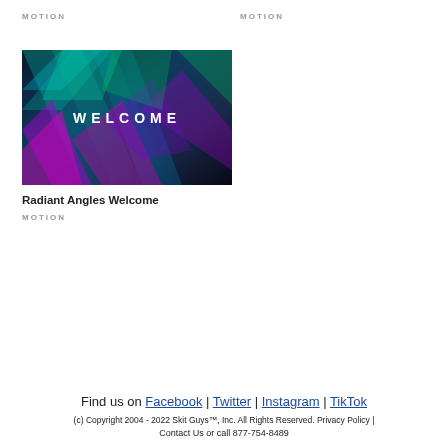MOTION
MOTION
[Figure (illustration): Dark abstract motion background with diagonal streaks of teal, green, blue, and purple/pink colors with the word WELCOME in white centered text]
Radiant Angles Welcome
MOTION
Find us on Facebook | Twitter | Instagram | TikTok
(c) Copyright 2004 - 2022 Skit Guys™, Inc. All Rights Reserved. Privacy Policy |
Contact Us or call 877-754-8489